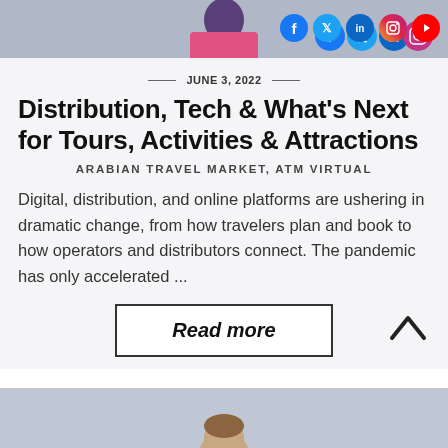[Figure (photo): Top portion of a person's image with social media icons overlay (Facebook, Twitter, LinkedIn, Instagram, YouTube) on a grayish-blue background]
JUNE 3, 2022
Distribution, Tech & What's Next for Tours, Activities & Attractions
ARABIAN TRAVEL MARKET, ATM VIRTUAL
Digital, distribution, and online platforms are ushering in dramatic change, from how travelers plan and book to how operators and distributors connect. The pandemic has only accelerated ...
Read more
[Figure (photo): Bottom portion showing a person's head/upper body on a gray-blue background]